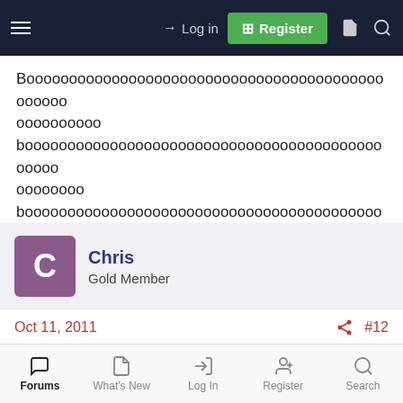Log in | Register
Boooooooooooooooooooooooooooooooooooooooooooooooo oooooooooo booooooooooooooooooooooooooooooooooooooooooooooo oooooooo booooooooooooooooooooooooooooooooooooooooooooooo ooooo
Chris
Gold Member
Oct 11, 2011  #12
Truthmatters said:
Forums  What's New  Log In  Register  Search